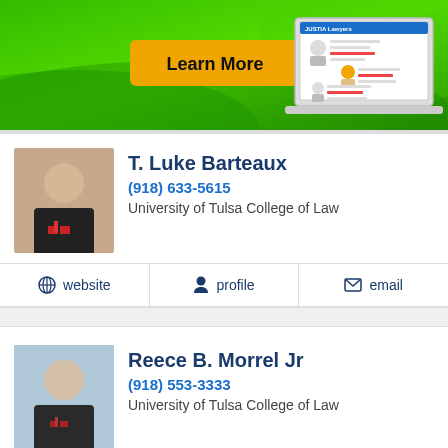[Figure (illustration): Green banner with 'Learn More' yellow button and laptop illustration showing Justia Lawyers website]
T. Luke Barteaux
(918) 633-5615
University of Tulsa College of Law
website | profile | email
Reece B. Morrel Jr
(918) 553-3333
University of Tulsa College of Law
website | profile | email